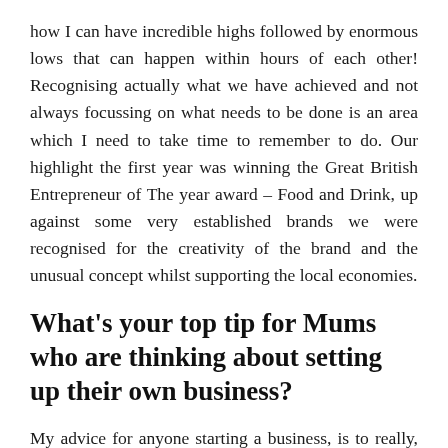how I can have incredible highs followed by enormous lows that can happen within hours of each other! Recognising actually what we have achieved and not always focussing on what needs to be done is an area which I need to take time to remember to do. Our highlight the first year was winning the Great British Entrepreneur of The year award – Food and Drink, up against some very established brands we were recognised for the creativity of the brand and the unusual concept whilst supporting the local economies.
What's your top tip for Mums who are thinking about setting up their own business?
My advice for anyone starting a business, is to really, really look at your potential market and keep reducing the market to approach the most realistic and engaging to start with giving you the best chance of survival. Search the